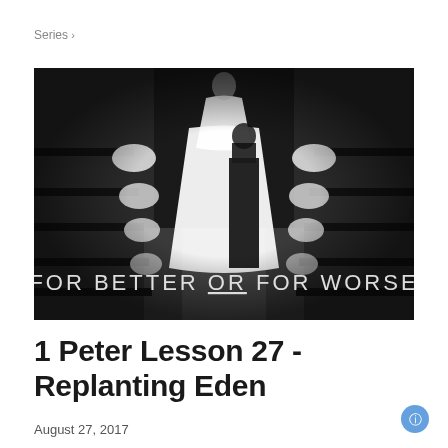Series >
[Figure (photo): Black and white wedding photo showing a bride in a white dress walking down a church aisle lined with pews decorated with white bows. Overlay text reads FOR BETTER OR FOR WORSE.]
1 Peter Lesson 27 - Replanting Eden
August 27, 2017